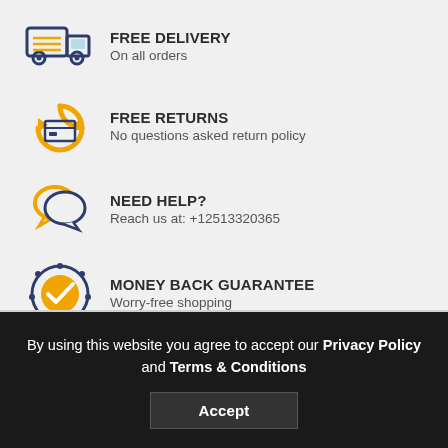FREE DELIVERY
On all orders
FREE RETURNS
No questions asked return policy
NEED HELP?
Reach us at: +12513320365
MONEY BACK GUARANTEE
Worry-free shopping
By using this website you agree to accept our Privacy Policy and Terms & Conditions
Accept